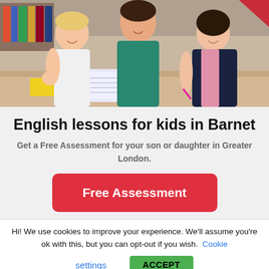[Figure (photo): A woman and two children (a boy and a girl) sitting at a table doing schoolwork together, smiling]
English lessons for kids in Barnet
Get a Free Assessment for your son or daughter in Greater London.
Free Assessment
Hi! We use cookies to improve your experience. We'll assume you're ok with this, but you can opt-out if you wish. Cookie settings ACCEPT